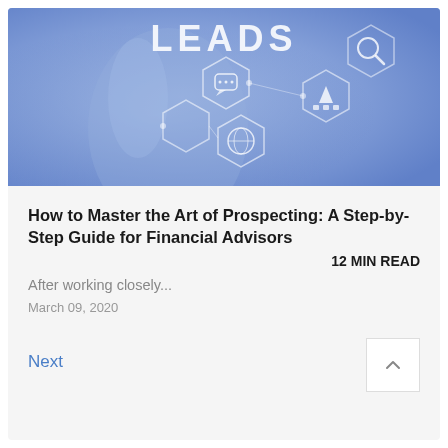[Figure (photo): Blue-toned hero image showing a hand touching digital interface with hexagonal network icons including a chat bubble, globe, magnifying glass, and pyramid/team icon. Large white text 'LEADS' appears prominently in the upper center.]
How to Master the Art of Prospecting: A Step-by-Step Guide for Financial Advisors
12 MIN READ
After working closely...
March 09, 2020
Next